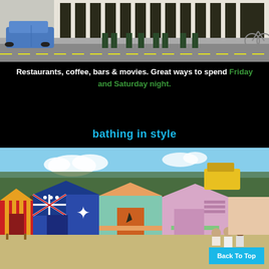[Figure (photo): Street scene with a blue car parked outside a cafe/restaurant with outdoor seating, chairs and tables visible, and a cyclist in the background]
Restaurants, coffee, bars & movies. Great ways to spend Friday and Saturday night.
bathing in style
[Figure (photo): Colourful beach bathing boxes/huts on a sandy beach with trees in the background. Boxes painted with red and yellow stripes, Australian flag design, teal/mint with orange trim, and pink/lavender. People sitting in front of the last box.]
Back To Top